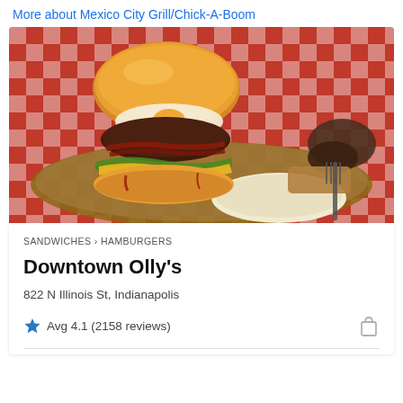More about Mexico City Grill/Chick-A-Boom
[Figure (photo): A large gourmet burger with egg, bacon, lettuce, cheese and toppings served on a wooden board with coleslaw, grilled mushrooms, and a fork, on a red-and-white checkered tablecloth.]
SANDWICHES › HAMBURGERS
Downtown Olly's
822 N Illinois St, Indianapolis
Avg 4.1 (2158 reviews)